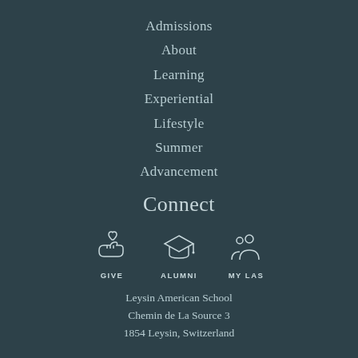Admissions
About
Learning
Experiential
Lifestyle
Summer
Advancement
Connect
[Figure (infographic): Three icons with labels: GIVE (hand with heart), ALUMNI (graduation cap), MY LAS (group of people)]
Leysin American School
Chemin de La Source 3
1854 Leysin, Switzerland